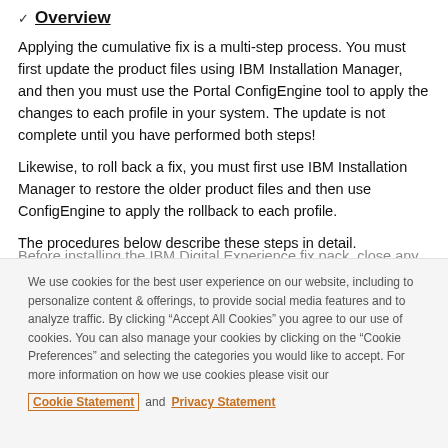Overview
Applying the cumulative fix is a multi-step process. You must first update the product files using IBM Installation Manager, and then you must use the Portal ConfigEngine tool to apply the changes to each profile in your system. The update is not complete until you have performed both steps!
Likewise, to roll back a fix, you must first use IBM Installation Manager to restore the older product files and then use ConfigEngine to apply the rollback to each profile.
The procedures below describe these steps in detail.
We use cookies for the best user experience on our website, including to personalize content & offerings, to provide social media features and to analyze traffic. By clicking “Accept All Cookies” you agree to our use of cookies. You can also manage your cookies by clicking on the “Cookie Preferences” and selecting the categories you would like to accept. For more information on how we use cookies please visit our Cookie Statement and Privacy Statement